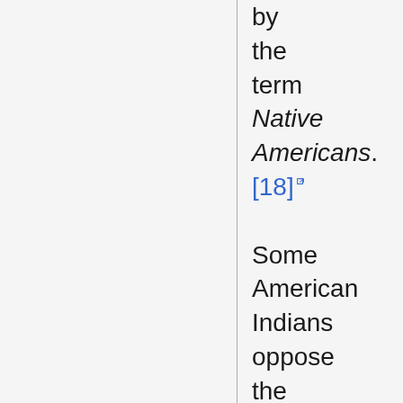by the term Native Americans.[18] Some American Indians oppose the term Native American because, th